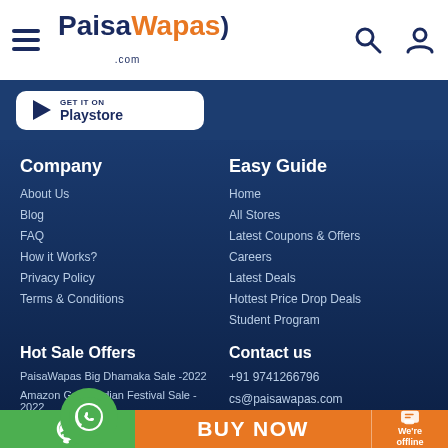PaisaWapas.com
GET IT ON Playstore
Company
About Us
Blog
FAQ
How it Works?
Privacy Policy
Terms & Conditions
Easy Guide
Home
All Stores
Latest Coupons & Offers
Careers
Latest Deals
Hottest Price Drop Deals
Student Program
Hot Sale Offers
PaisaWapas Big Dhamaka Sale -2022
Amazon Great Indian Festival Sale -2022
Contact us
+91 9741266796
cs@paisawapas.com
BUY NOW
We're offline